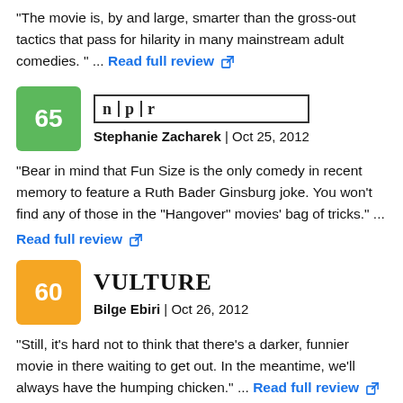"The movie is, by and large, smarter than the gross-out tactics that pass for hilarity in many mainstream adult comedies. " ... Read full review
65 | NPR | Stephanie Zacharek | Oct 25, 2012
"Bear in mind that Fun Size is the only comedy in recent memory to feature a Ruth Bader Ginsburg joke. You won't find any of those in the "Hangover" movies' bag of tricks." ... Read full review
60 | Vulture | Bilge Ebiri | Oct 26, 2012
"Still, it's hard not to think that there's a darker, funnier movie in there waiting to get out. In the meantime, we'll always have the humping chicken." ... Read full review